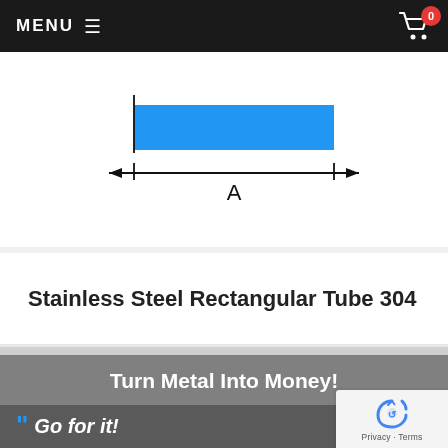MENU ☰
[Figure (engineering-diagram): Engineering dimension diagram of a rectangular tube cross-section showing a blue flat bar/rectangle shape with dimension arrow labeled 'A' indicating the width]
Stainless Steel Rectangular Tube 304
Turn Metal Into Money!
[Figure (photo): Photo of a person with quote text 'Go for it!' overlaid, with blue quotation mark graphic]
[Figure (logo): reCAPTCHA privacy badge with recycling arrows logo and 'Privacy · Terms' text]